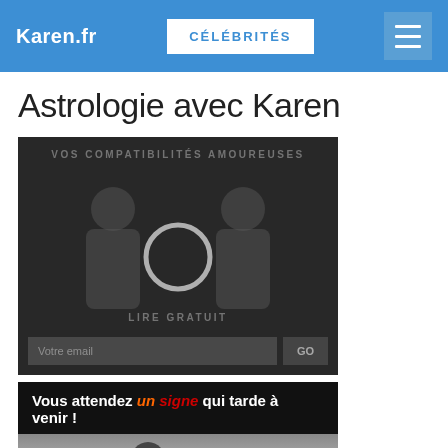Karen.fr  CÉLÉBRITÉS
Astrologie avec Karen
[Figure (screenshot): Dark astrology compatibility widget with zodiac silhouettes, a ring icon in the center, overlay text 'VOS COMPATIBILITÉS AMOUREUSES' and 'LIRE GRATUIT', and an email input field with GO button at the bottom]
[Figure (screenshot): Black banner with text 'Vous attendez un signe qui tarde à venir !' followed by a black-and-white photo of a woman looking sideways]